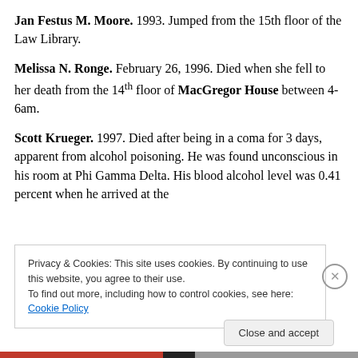Jan Festus M. Moore. 1993. Jumped from the 15th floor of the Law Library.
Melissa N. Ronge. February 26, 1996. Died when she fell to her death from the 14th floor of MacGregor House between 4-6am.
Scott Krueger. 1997. Died after being in a coma for 3 days, apparent from alcohol poisoning. He was found unconscious in his room at Phi Gamma Delta. His blood alcohol level was 0.41 percent when he arrived at the
Privacy & Cookies: This site uses cookies. By continuing to use this website, you agree to their use.
To find out more, including how to control cookies, see here: Cookie Policy